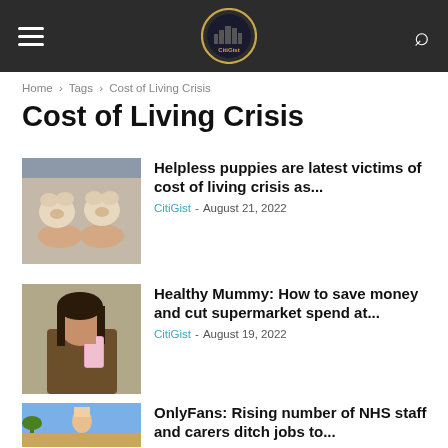CitiGist (navigation bar with hamburger menu, logo, search icon)
Home › Tags › Cost of Living Crisis
Cost of Living Crisis
[Figure (photo): Two small puppies held in hands]
Helpless puppies are latest victims of cost of living crisis as...
CitiGist - August 21, 2022
[Figure (photo): Woman taking a selfie with a pink phone]
Healthy Mummy: How to save money and cut supermarket spend at...
CitiGist - August 19, 2022
[Figure (photo): Blonde woman outdoors with palm trees]
OnlyFans: Rising number of NHS staff and carers ditch jobs to...